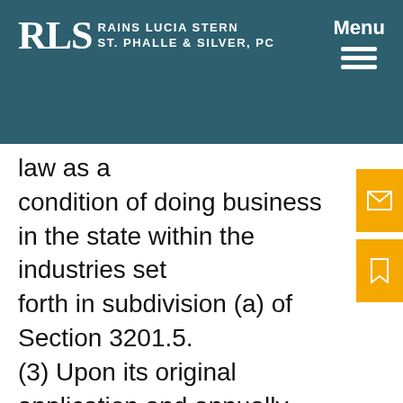RLS Rains Lucia Stern St. Phalle & Silver, PC | Menu
law as a condition of doing business in the state within the industries set forth in subdivision (a) of Section 3201.5. (3) Upon its original application and annually
We use cookies on our website to give you the most relevant experience by remembering your preferences and repeat visits. By clicking “Accept”, you consent to the use of ALL the cookies. Do not sell my personal information.
Cookie settings ACCEPT REJECT